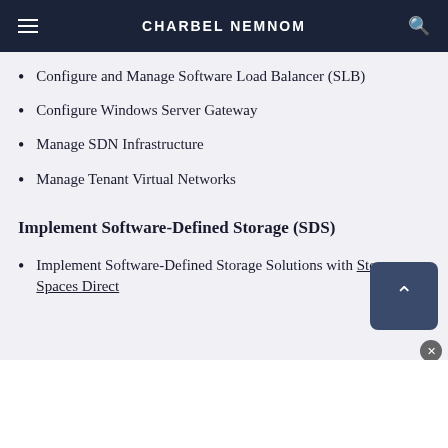CHARBEL NEMNOM
Configure and Manage Software Load Balancer (SLB)
Configure Windows Server Gateway
Manage SDN Infrastructure
Manage Tenant Virtual Networks
Implement Software-Defined Storage (SDS)
Implement Software-Defined Storage Solutions with Storage Spaces Direct